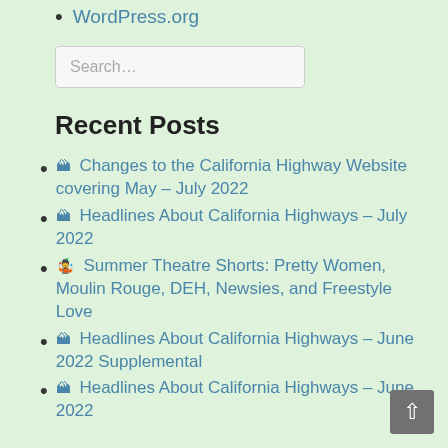WordPress.org
Search...
Recent Posts
🏔 Changes to the California Highway Website covering May – July 2022
🏔 Headlines About California Highways – July 2022
🤹 Summer Theatre Shorts: Pretty Women, Moulin Rouge, DEH, Newsies, and Freestyle Love
🏔 Headlines About California Highways – June 2022 Supplemental
🏔 Headlines About California Highways – June 2022